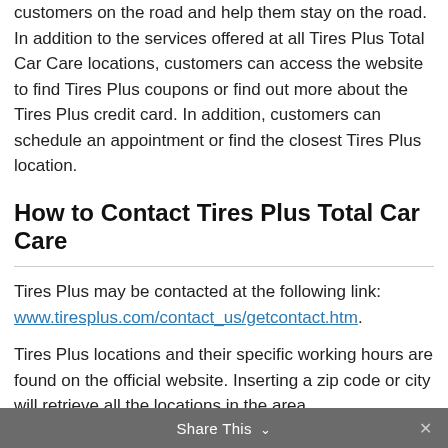customers on the road and help them stay on the road. In addition to the services offered at all Tires Plus Total Car Care locations, customers can access the website to find Tires Plus coupons or find out more about the Tires Plus credit card. In addition, customers can schedule an appointment or find the closest Tires Plus location.
How to Contact Tires Plus Total Car Care
Tires Plus may be contacted at the following link: www.tiresplus.com/contact_us/getcontact.htm.
Tires Plus locations and their specific working hours are found on the official website. Inserting a zip code or city will retrieve all the locations in the area.
In addition, use these channels to contact Tires Plus:
Share This ∨  ×